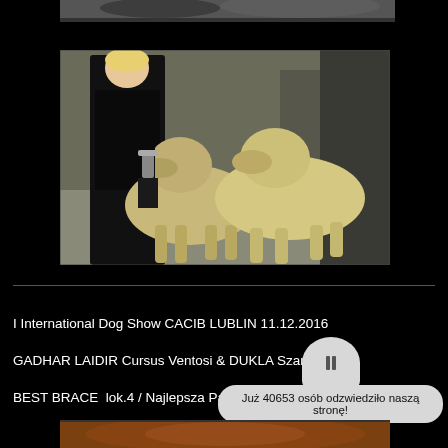[Figure (photo): Partial top strip of photo showing dogs at a show]
[Figure (photo): A person dressed in black standing with two large light-colored Irish Wolfhound dogs at an indoor dog show event]
I International Dog Show CACIB LUBLIN 11.12.2016
GADHAR LAIDIR Cursus Ventosi & DUKLA Szare Stado
BEST BRACE  lok.4 / Najlepsza Para Hodowlana Lok.4
Już 40653 osób odzwiedziło naszą stronę!
[Figure (photo): Bottom strip of another photo, appears to show a bronze/copper colored detail]